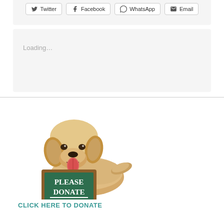[Figure (other): Social share buttons for Twitter, Facebook, WhatsApp, and Email]
Loading…
[Figure (photo): A fluffy golden dog lying down holding a chalkboard sign that reads 'PLEASE DONATE']
CLICK HERE TO DONATE